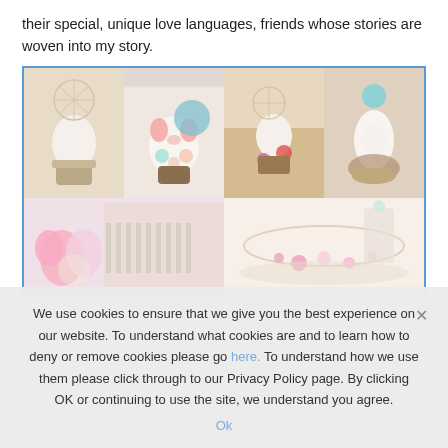their special, unique love languages, friends whose stories are woven into my story.
[Figure (photo): A collage of six photos arranged in a grid with a blue border, showing decorated mini cakes and party/floral decorations with colorful toppers and flowers.]
We use cookies to ensure that we give you the best experience on our website. To understand what cookies are and to learn how to deny or remove cookies please go here. To understand how we use them please click through to our Privacy Policy page. By clicking OK or continuing to use the site, we understand you agree.
Ok